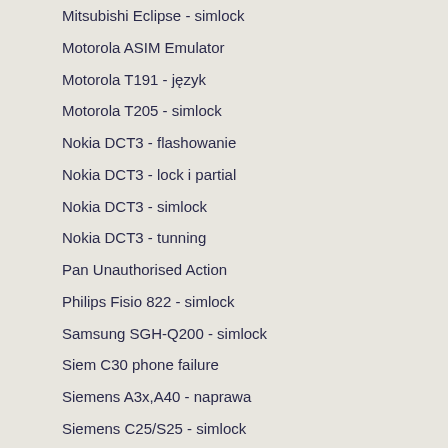Mitsubishi Eclipse - simlock
Motorola ASIM Emulator
Motorola T191 - język
Motorola T205 - simlock
Nokia DCT3 - flashowanie
Nokia DCT3 - lock i partial
Nokia DCT3 - simlock
Nokia DCT3 - tunning
Pan Unauthorised Action
Philips Fisio 822 - simlock
Samsung SGH-Q200 - simlock
Siem C30 phone failure
Siemens A3x,A40 - naprawa
Siemens C25/S25 - simlock
Siemens S55 - simlock
Siemens x35 - naprawa
Sony J5/J6/J7 - simlock
Sony Z7 Z7e - simlock
CIEKAWOSTKI
Pinou​ty telefonów
Cena:
10.00 PLN brutto